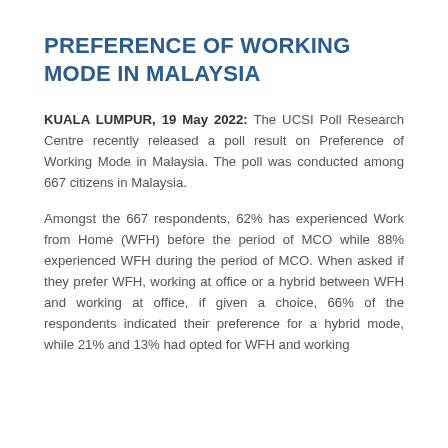PREFERENCE OF WORKING MODE IN MALAYSIA
KUALA LUMPUR, 19 May 2022: The UCSI Poll Research Centre recently released a poll result on Preference of Working Mode in Malaysia. The poll was conducted among 667 citizens in Malaysia.
Amongst the 667 respondents, 62% has experienced Work from Home (WFH) before the period of MCO while 88% experienced WFH during the period of MCO. When asked if they prefer WFH, working at office or a hybrid between WFH and working at office, if given a choice, 66% of the respondents indicated their preference for a hybrid mode, while 21% and 13% had opted for WFH and working